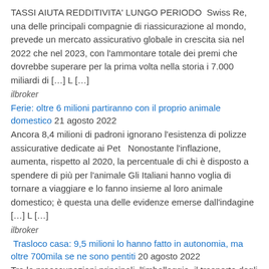TASSI AIUTA REDDITIVITA' LUNGO PERIODO  Swiss Re, una delle principali compagnie di riassicurazione al mondo, prevede un mercato assicurativo globale in crescita sia nel 2022 che nel 2023, con l'ammontare totale dei premi che dovrebbe superare per la prima volta nella storia i 7.000 miliardi di […] L […]
ilbroker
Ferie: oltre 6 milioni partiranno con il proprio animale domestico 21 agosto 2022
Ancora 8,4 milioni di padroni ignorano l'esistenza di polizze assicurative dedicate ai Pet   Nonostante l'inflazione, aumenta, rispetto al 2020, la percentuale di chi è disposto a spendere di più per l'animale Gli Italiani hanno voglia di tornare a viaggiare e lo fanno insieme al loro animale domestico; è questa una delle evidenze emerse dall'indagine […] L […]
ilbroker
Trasloco casa: 9,5 milioni lo hanno fatto in autonomia, ma oltre 700mila se ne sono pentiti 20 agosto 2022
Tra le preoccupazioni principali, l'imballaggio, il trasporto degli scatoloni e l'attivazione delle utenze   Mediamente servono 7 giorni per un trasloco completo Degli oltre 15 milioni di italiani che negli ultimi 5 anni hanno affrontato un trasloco, il 61% lo ha fatto senza ricorrere all'aiuto